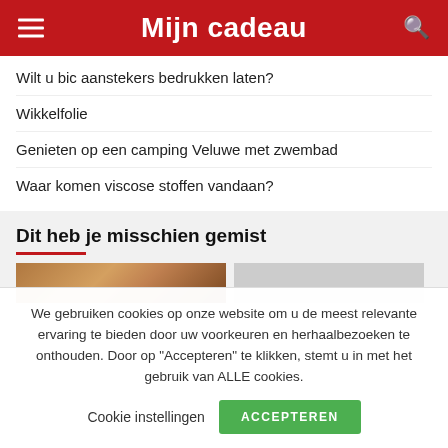Mijn cadeau
Wilt u bic aanstekers bedrukken laten?
Wikkelfolie
Genieten op een camping Veluwe met zwembad
Waar komen viscose stoffen vandaan?
Dit heb je misschien gemist
[Figure (photo): Two photos side by side — first shows a wooden/brown textured surface, second is a grey placeholder]
We gebruiken cookies op onze website om u de meest relevante ervaring te bieden door uw voorkeuren en herhaalbezoeken te onthouden. Door op "Accepteren" te klikken, stemt u in met het gebruik van ALLE cookies.